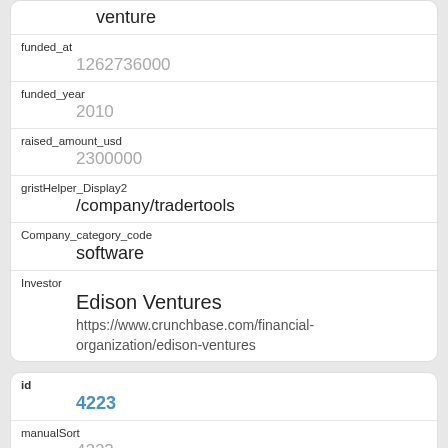| Field | Value |
| --- | --- |
| funded_at | 1262736000 |
| funded_year | 2010 |
| raised_amount_usd | 2300000 |
| gristHelper_Display2 | /company/tradertools |
| Company_category_code | software |
| Investor | Edison Ventures
https://www.crunchbase.com/financial-organization/edison-ventures |
| Field | Value |
| --- | --- |
| id | 4223 |
| manualSort | 4223 |